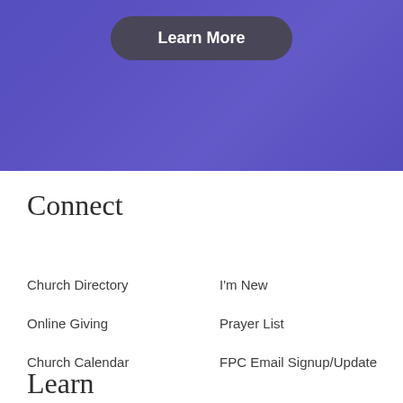[Figure (photo): Hero image with purple/blue overlay showing a blurred interior scene]
Learn More
Connect
Church Directory
I'm New
Online Giving
Prayer List
Church Calendar
FPC Email Signup/Update
Learn